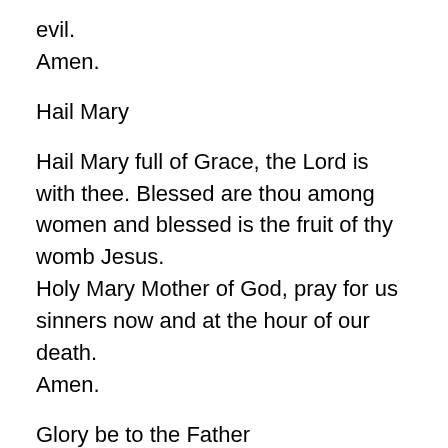evil.
Amen.
Hail Mary
Hail Mary full of Grace, the Lord is with thee. Blessed are thou among women and blessed is the fruit of thy womb Jesus.
Holy Mary Mother of God, pray for us sinners now and at the hour of our death.
Amen.
Glory be to the Father
Glory be to the Father and to the Son and to the Holy Spirit. As it was in the beginning is now, and ever shall be, world without end.
Amen.